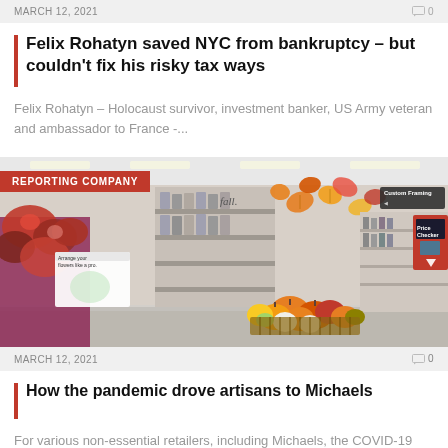MARCH 12, 2021   0
Felix Rohatyn saved NYC from bankruptcy – but couldn't fix his risky tax ways
Felix Rohatyn – Holocaust survivor, investment banker, US Army veteran and ambassador to France -...
[Figure (photo): Interior of a Michaels craft store showing fall seasonal display with pumpkins, flowers, and decorative items. A red 'REPORTING COMPANY' badge overlaid in top-left.]
MARCH 12, 2021   0
How the pandemic drove artisans to Michaels
For various non-essential retailers, including Michaels, the COVID-19 pandemic restrictions led to...